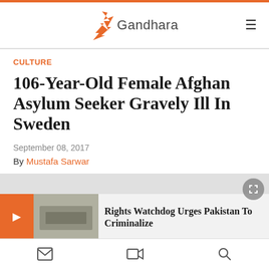[Figure (logo): Gandhara logo with orange bird/arrow icon and text 'Gandhara']
CULTURE
106-Year-Old Female Afghan Asylum Seeker Gravely Ill In Sweden
September 08, 2017
By Mustafa Sarwar
[Figure (screenshot): Media carousel area showing related article: 'Rights Watchdog Urges Pakistan To Criminalize' with thumbnail of people at a rally]
Bottom navigation bar with mail, video, and search icons